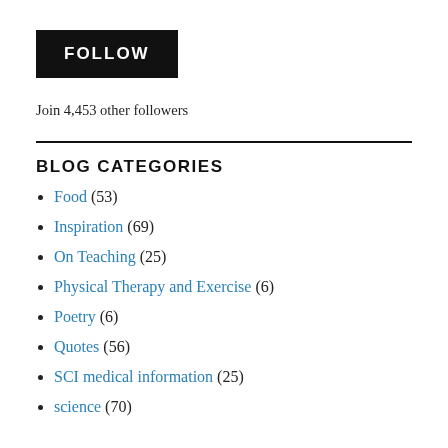FOLLOW
Join 4,453 other followers
BLOG CATEGORIES
Food (53)
Inspiration (69)
On Teaching (25)
Physical Therapy and Exercise (6)
Poetry (6)
Quotes (56)
SCI medical information (25)
science (70)